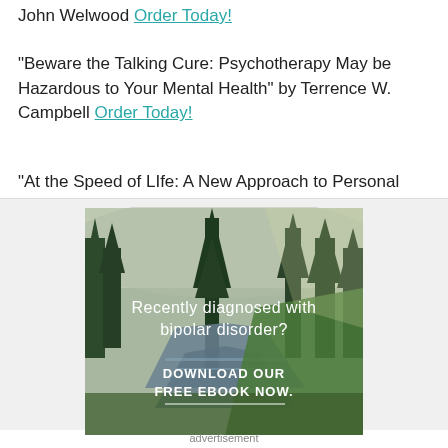John Welwood Order Today!
"Beware the Talking Cure: Psychotherapy May be Hazardous to Your Mental Health" by Terrence W. Campbell Order Today!
"At the Speed of LIfe: A New Approach to Personal
[Figure (photo): Nature scene with forest, river, and meadow. Text overlay: 'Recently diagnosed with bipolar disorder?' and 'DOWNLOAD OUR FREE EBOOK NOW.']
advertisement